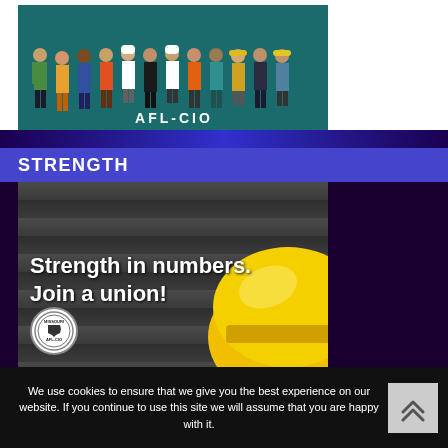[Figure (illustration): AFL-CIO illustration showing a diverse group of workers from various professions standing together on a teal background, with 'AFL-CIO' text below them]
STRENGTH
[Figure (photo): Photo of a yellow construction hard hat against a dark wood plank background with text 'Strength in numbers. Join a union!' and Missouri AFL-CIO circular logo]
We use cookies to ensure that we give you the best experience on our website. If you continue to use this site we will assume that you are happy with it.